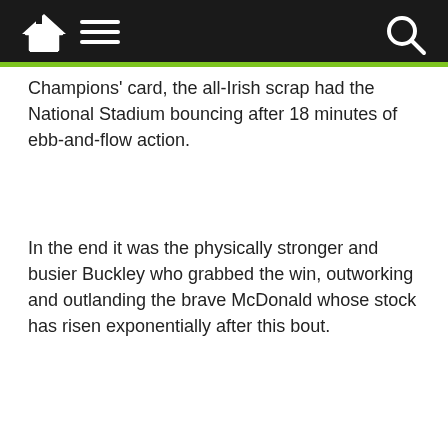Navigation bar with home, menu, and search icons
Champions' card, the all-Irish scrap had the National Stadium bouncing after 18 minutes of ebb-and-flow action.
In the end it was the physically stronger and busier Buckley who grabbed the win, outworking and outlanding the brave McDonald whose stock has risen exponentially after this bout.